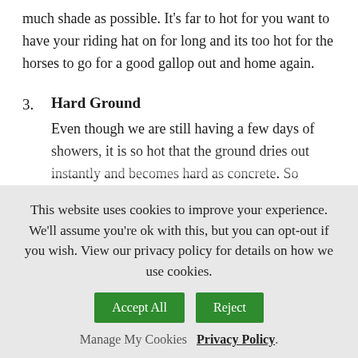much shade as possible. It's far to hot for you want to have your riding hat on for long and its too hot for the horses to go for a good gallop out and home again.
3. Hard Ground
Even though we are still having a few days of showers, it is so hot that the ground dries out instantly and becomes hard as concrete. So again, if you are feeling brave enough, or you get up early enough, to have a nice canter/gallop or do some jumping, the ground is too hard.
4. Sunburn and Farmers Tan
I try to wear shorts as often as possible to the yard. However
This website uses cookies to improve your experience. We'll assume you're ok with this, but you can opt-out if you wish. View our privacy policy for details on how we use cookies.
Manage My Cookies  Privacy Policy